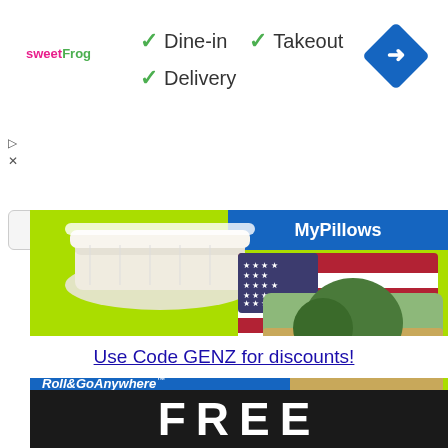[Figure (screenshot): SweetFrog restaurant ad showing dine-in, takeout, delivery options with green checkmarks and a blue navigation diamond icon]
[Figure (advertisement): MyPillow advertisement on lime green background showing mattress topper, decorative pillows, Roll&GoAnywhere MyPillows text, and MyPillow 6-Piece Towels Sets with red and grey towels]
Use Code GENZ for discounts!
[Figure (photo): Dark image with large white FREE text partially visible at bottom]